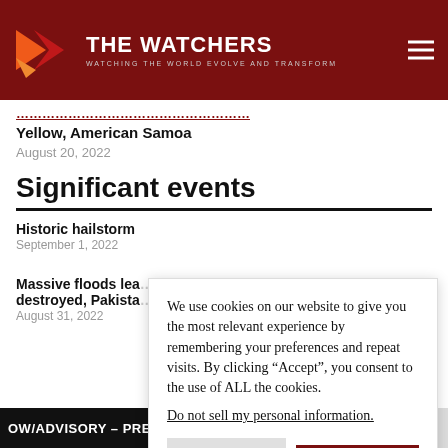THE WATCHERS — WATCHING THE WORLD EVOLVE AND TRANSFORM
Yellow, American Samoa
August 20, 2022
Significant events
Historic hailstorm
September 1, 2022
Massive floods lea... destroyed, Pakista...
August 31, 2022
We use cookies on our website to give you the most relevant experience by remembering your preferences and repeat visits. By clicking “Accept”, you consent to the use of ALL the cookies.
Do not sell my personal information.
OW/ADVISORY – PRELIMINARY EARTHQUAKE LOCATIONS N HA